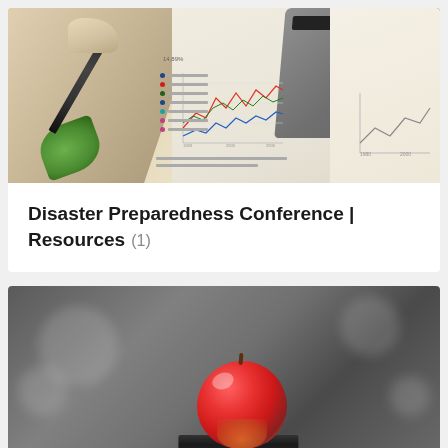[Figure (photo): A hand holding a pen over financial charts and documents, with a calculator visible in the upper right corner]
Disaster Preparedness Conference | Resources (1)
[Figure (photo): A red apple sitting on top of a dark book, set against a blurred gray background]